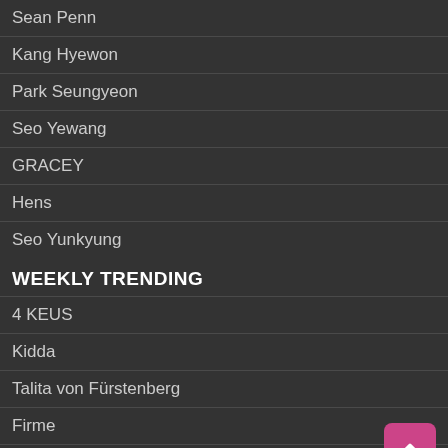Sean Penn
Kang Hyewon
Park Seungyeon
Seo Yewang
GRACEY
Hens
Seo Yunkyung
WEEKLY TRENDING
4 KEUS
Kidda
Talita von Fürstenberg
Firme
Alican Özbuğutu
Anne St. Marie